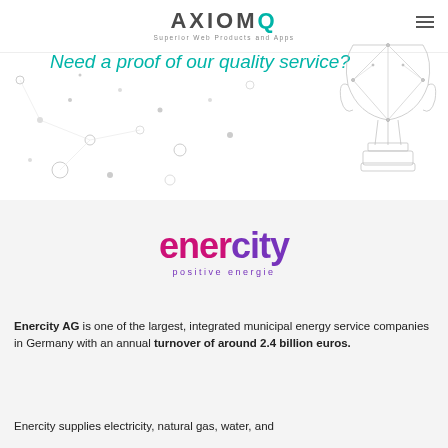AXIOMQ Superior Web Products and Apps
Need a proof of our quality service?
[Figure (illustration): Wireframe/polygon style trophy illustration]
[Figure (logo): Enercity logo with text 'enercity positive energie']
Enercity AG is one of the largest, integrated municipal energy service companies in Germany with an annual turnover of around 2.4 billion euros.
Enercity supplies electricity, natural gas, water, and